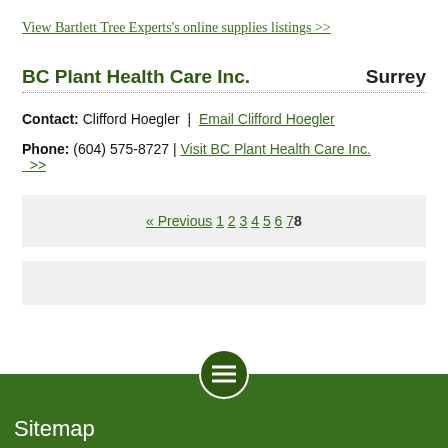View Bartlett Tree Experts's online supplies listings >>
BC Plant Health Care Inc.    Surrey
Contact: Clifford Hoegler | Email Clifford Hoegler
Phone: (604) 575-8727 | Visit BC Plant Health Care Inc. >>
« Previous 1 2 3 4 5 6 7 8
Sitemap